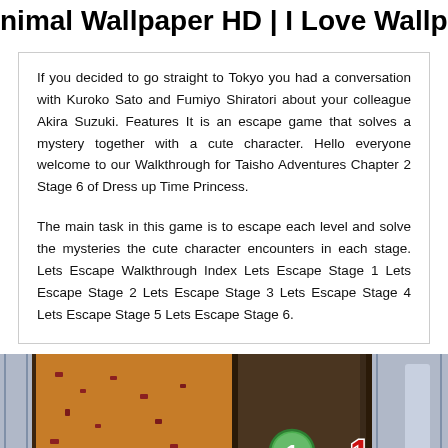nimal Wallpaper HD | I Love Wallpap
If you decided to go straight to Tokyo you had a conversation with Kuroko Sato and Fumiyo Shiratori about your colleague Akira Suzuki. Features It is an escape game that solves a mystery together with a cute character. Hello everyone welcome to our Walkthrough for Taisho Adventures Chapter 2 Stage 6 of Dress up Time Princess.
The main task in this game is to escape each level and solve the mysteries the cute character encounters in each stage. Lets Escape Walkthrough Index Lets Escape Stage 1 Lets Escape Stage 2 Lets Escape Stage 3 Lets Escape Stage 4 Lets Escape Stage 5 Lets Escape Stage 6.
[Figure (screenshot): Screenshot from a game showing a room scene with numbered icons. A green circle with number 1 and a red/white number 1 are visible. Background shows orange/brown wall textures and a dark door-like structure with decorative border elements on sides.]